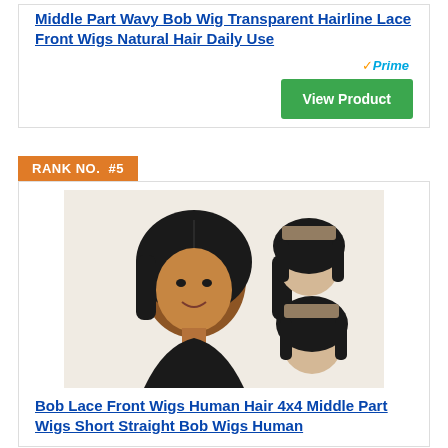Middle Part Wavy Bob Wig Transparent Hairline Lace Front Wigs Natural Hair Daily Use
[Figure (other): Amazon Prime badge and View Product green button]
RANK NO. #5
[Figure (photo): Woman wearing a straight black bob wig, shown from front and two side/back angles of the wig on a mannequin]
Bob Lace Front Wigs Human Hair 4x4 Middle Part Wigs Short Straight Bob Wigs Human